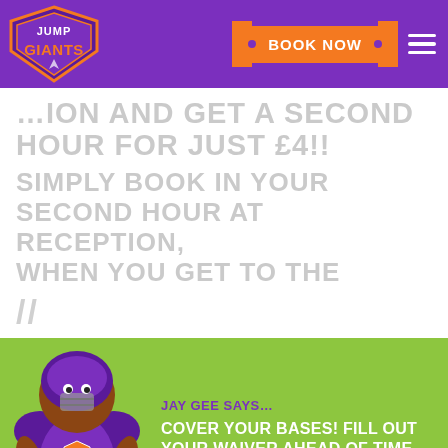Jump Giants - BOOK NOW
...ION AND GET A SECOND HOUR FOR JUST £4!!
SIMPLY BOOK IN YOUR SECOND HOUR AT RECEPTION, WHEN YOU GET TO THE PARK!
//
[Figure (illustration): Jay Gee mascot - cartoon bear in purple American football gear]
JAY GEE SAYS... COVER YOUR BASES! FILL OUT YOUR WAIVER AHEAD OF TIME AND ARRIVE GAME READY!
OUR PARKS
FIND YOUR NEAREST TEAM